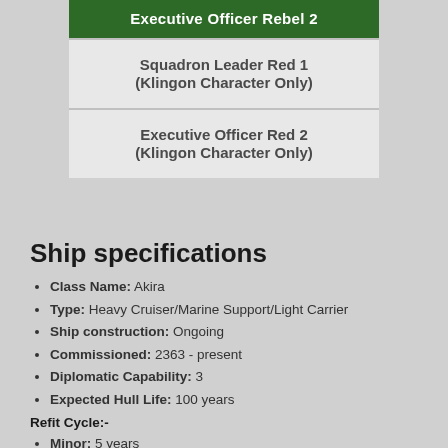| Executive Officer Rebel 2 |
| Squadron Leader Red 1
(Klingon Character Only) |
| Executive Officer Red 2
(Klingon Character Only) |
Ship specifications
Class Name: Akira
Type: Heavy Cruiser/Marine Support/Light Carrier
Ship construction: Ongoing
Commissioned: 2363 - present
Diplomatic Capability: 3
Expected Hull Life: 100 years
Refit Cycle:-
Minor: 5 years
Major: 20 years
Time between Resupply: 3-5 years
Known Active ships:-